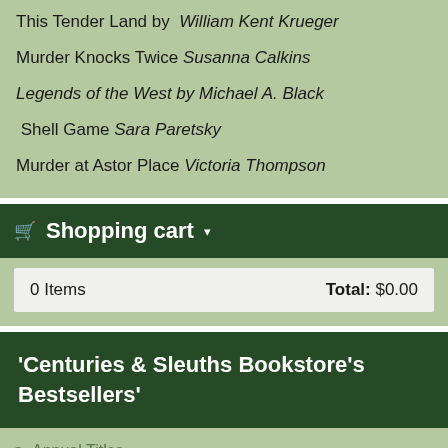This Tender Land by William Kent Krueger
Murder Knocks Twice Susanna Calkins
Legends of the West by Michael A. Black
Shell Game Sara Paretsky
Murder at Astor Place Victoria Thompson
🛒 Shopping cart ▾
| Items | Total |
| --- | --- |
| 0 Items | Total: $0.00 |
'Centuries & Sleuths Bookstore's Bestsellers'
Annual Titles